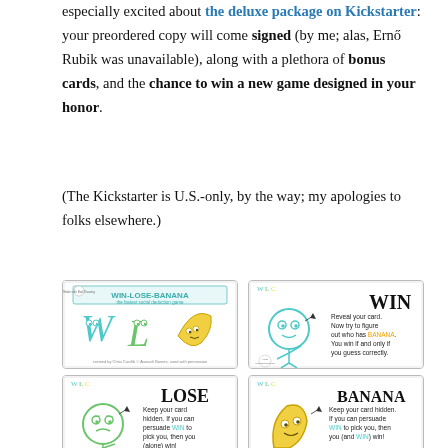especially excited about the deluxe package on Kickstarter: your preordered copy will come signed (by me; alas, Ernő Rubik was unavailable), along with a plethora of bonus cards, and the chance to win a new game designed in your honor.
(The Kickstarter is U.S.-only, by the way; my apologies to folks elsewhere.)
[Figure (illustration): Win-Lose-Banana game card: cover card with W, L, banana characters and title]
[Figure (illustration): WIN card: teal circle character, text Reveal your card. Now try to figure out who has BANANA. You win if and only if you guess correctly.]
[Figure (illustration): LOSE card: green circle character, text Keep your card hidden. If you can persuade WIN to pick you, then you (alone) win!]
[Figure (illustration): BANANA card: yellow banana character, text Keep your card hidden. If you can persuade WIN to pick you, then you (and WIN) win!]